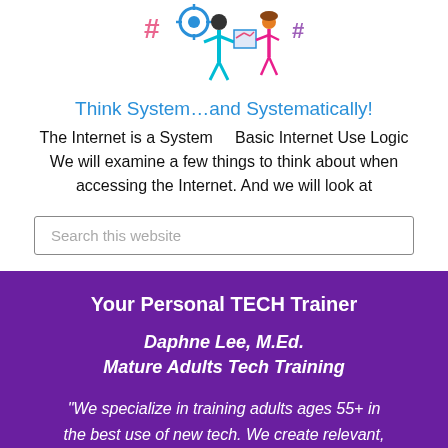[Figure (illustration): Illustration of people using technology, with hashtag and gear icons above them]
Think System…and Systematically!
The Internet is a System    Basic Internet Use Logic We will examine a few things to think about when accessing the Internet. And we will look at
Search this website
Your Personal TECH Trainer
Daphne Lee, M.Ed.
Mature Adults Tech Training
"We specialize in training adults ages 55+ in the best use of new tech. We create relevant,